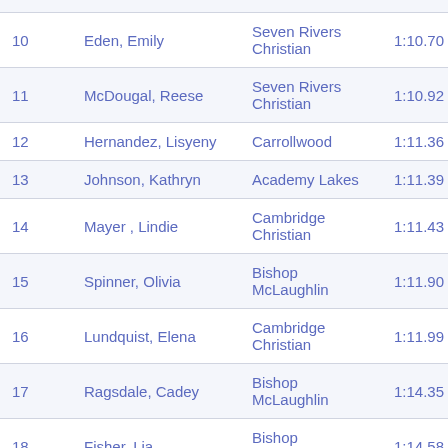| # | Name | Team/Affiliation | Time |
| --- | --- | --- | --- |
| 10 | Eden, Emily | Seven Rivers Christian | 1:10.70 |
| 11 | McDougal, Reese | Seven Rivers Christian | 1:10.92 |
| 12 | Hernandez, Lisyeny | Carrollwood | 1:11.36 |
| 13 | Johnson, Kathryn | Academy Lakes | 1:11.39 |
| 14 | Mayer , Lindie | Cambridge Christian | 1:11.43 |
| 15 | Spinner, Olivia | Bishop McLaughlin | 1:11.90 |
| 16 | Lundquist, Elena | Cambridge Christian | 1:11.99 |
| 17 | Ragsdale, Cadey | Bishop McLaughlin | 1:14.35 |
| 18 | Fisher, Lia | Bishop McLaughlin | 1:14.58 |
| 19 | Barkley, Hannah | Seven Rivers Christian | 1:15.21 |
| 20 | Spadaro, Riley | Cambridge Christian | 1:16.15 |
| 21 | Nair, Aanchal | Carrollwood | 1:16.44 |
| 22 | Hernandez, Trinity | Northside Christian | 1:17.08 |